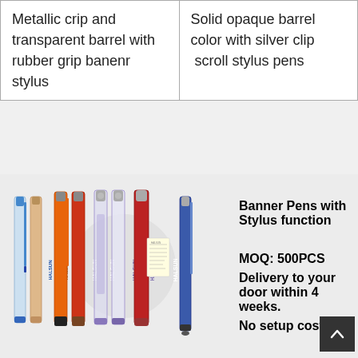| Metallic crip and transparent barrel with rubber grip banenr stylus | Solid opaque barrel color with silver clip  scroll stylus pens |
[Figure (photo): Multiple HALSUN branded banner pens with stylus function in various colors (blue, orange, red, clear/white, navy blue), shown standing upright. One pen on the right is a solid blue/navy pen shown separately.]
Banner Pens with Stylus function

MOQ: 500PCS
Delivery to your door within 4 weeks.
No setup cost